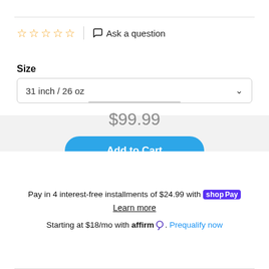☆☆☆☆☆  |  Ask a question
Size
31 inch / 26 oz
1
$99.99
Add to Cart
Pay in 4 interest-free installments of $24.99 with shop Pay
Learn more
Starting at $18/mo with affirm. Prequalify now